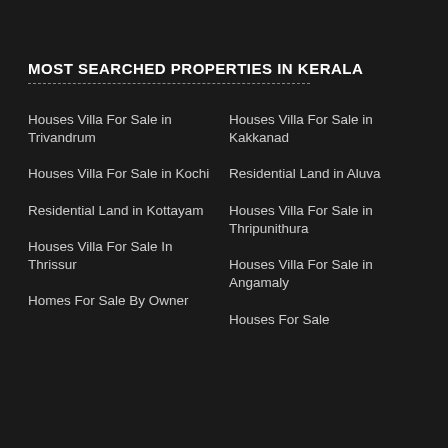MOST SEARCHED PROPERTIES IN KERALA
Houses Villa For Sale in Trivandrum
Houses Villa For Sale in Kakkanad
Houses Villa For Sale in Kochi
Residential Land in Aluva
Residential Land in Kottayam
Houses Villa For Sale in Thripunithura
Houses Villa For Sale In Thrissur
Houses Villa For Sale in Angamaly
Homes For Sale By Owner
Houses For Sale
Residential Land in Kothamangalam
Houses Villa For Sale in Kozhencherry